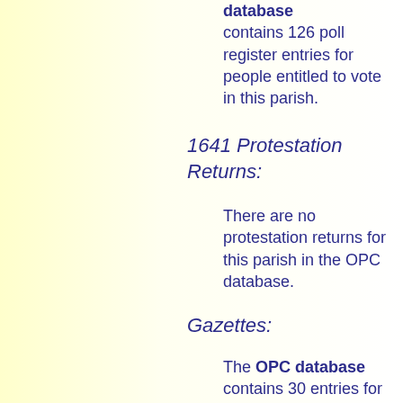database contains 126 poll register entries for people entitled to vote in this parish.
1641 Protestation Returns:
There are no protestation returns for this parish in the OPC database.
Gazettes:
The OPC database contains 30 entries for people